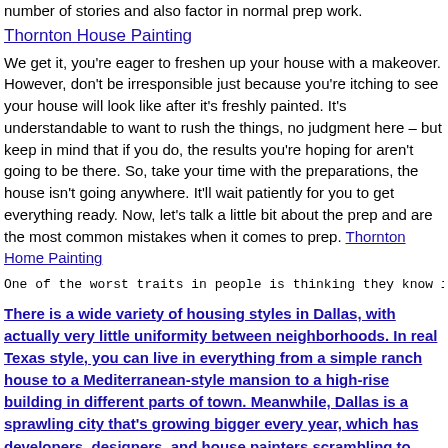number of stories and also factor in normal prep work.
Thornton House Painting
We get it, you're eager to freshen up your house with a makeover. However, don't be irresponsible just because you're itching to see your house will look like after it's freshly painted. It's understandable to want to rush the things, no judgment here – but keep in mind that if you do, the results you're hoping for aren't going to be there. So, take your time with the preparations, the house isn't going anywhere. It'll wait patiently for you to get everything ready. Now, let's talk a little bit about the prep and are the most common mistakes when it comes to prep. Thornton Home Painting
One of the worst traits in people is thinking they know i
There is a wide variety of housing styles in Dallas, with actually very little uniformity between neighborhoods. In real Texas style, you can live in everything from a simple ranch house to a Mediterranean-style mansion to a high-rise building in different parts of town. Meanwhile, Dallas is a sprawling city that's growing bigger every year, which has developers, designers, and house painters scrambling to keep up with the demand. House Painting Thornton Supplies and Equipment – Scraping, sanding, and stripping tools and supplies; patching compound; power washer rental; primer; caulk; masking supplies; painters' tape;